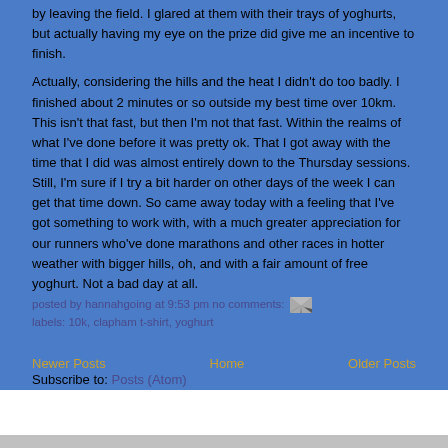by leaving the field. I glared at them with their trays of yoghurts, but actually having my eye on the prize did give me an incentive to finish.

Actually, considering the hills and the heat I didn't do too badly. I finished about 2 minutes or so outside my best time over 10km. This isn't that fast, but then I'm not that fast. Within the realms of what I've done before it was pretty ok. That I got away with the time that I did was almost entirely down to the Thursday sessions. Still, I'm sure if I try a bit harder on other days of the week I can get that time down. So came away today with a feeling that I've got something to work with, with a much greater appreciation for our runners who've done marathons and other races in hotter weather with bigger hills, oh, and with a fair amount of free yoghurt. Not a bad day at all.
posted by hannahgoing at 9:53 pm no comments:
labels: 10k, clapham t-shirt, yoghurt
Newer Posts  Home  Older Posts
Subscribe to: Posts (Atom)